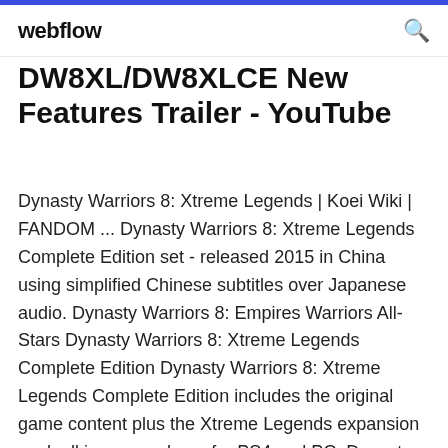webflow
DW8XL/DW8XLCE New Features Trailer - YouTube
Dynasty Warriors 8: Xtreme Legends | Koei Wiki | FANDOM ... Dynasty Warriors 8: Xtreme Legends Complete Edition set - released 2015 in China using simplified Chinese subtitles over Japanese audio. Dynasty Warriors 8: Empires Warriors All-Stars Dynasty Warriors 8: Xtreme Legends Complete Edition Dynasty Warriors 8: Xtreme Legends Complete Edition includes the original game content plus the Xtreme Legends expansion pack all in one package for PS4 and PC. Dynasty Warriors 8 - Wikipedia Players may also have the option to buy just the